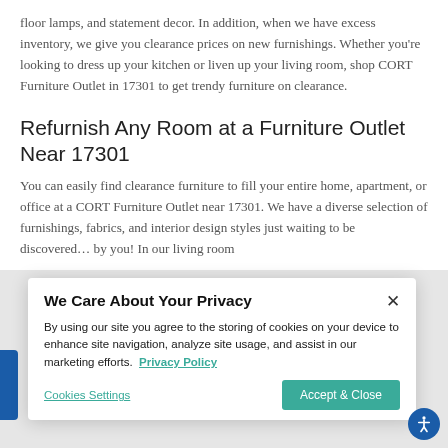floor lamps, and statement decor. In addition, when we have excess inventory, we give you clearance prices on new furnishings. Whether you're looking to dress up your kitchen or liven up your living room, shop CORT Furniture Outlet in 17301 to get trendy furniture on clearance.
Refurnish Any Room at a Furniture Outlet Near 17301
You can easily find clearance furniture to fill your entire home, apartment, or office at a CORT Furniture Outlet near 17301. We have a diverse selection of furnishings, fabrics, and interior design styles just waiting to be discovered… by you! In our living room
We Care About Your Privacy

By using our site you agree to the storing of cookies on your device to enhance site navigation, analyze site usage, and assist in our marketing efforts. Privacy Policy

Cookies Settings | Accept & Close